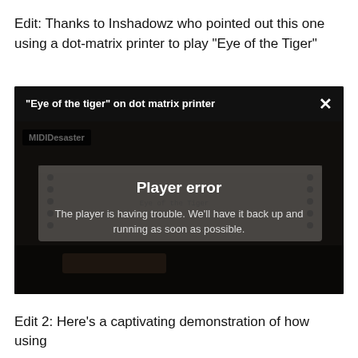Edit: Thanks to Inshadowz who pointed out this one using a dot-matrix printer to play “Eye of the Tiger”
[Figure (screenshot): Video player screenshot showing a YouTube/embedded video titled '"Eye of the tiger" on dot matrix printer' by channel MIDIDesaster, displaying a player error message: 'Player error — The player is having trouble. We’ll have it back up and running as soon as possible.' Background shows an image of a dot-matrix printer.]
Edit 2: Here’s a captivating demonstration of how using